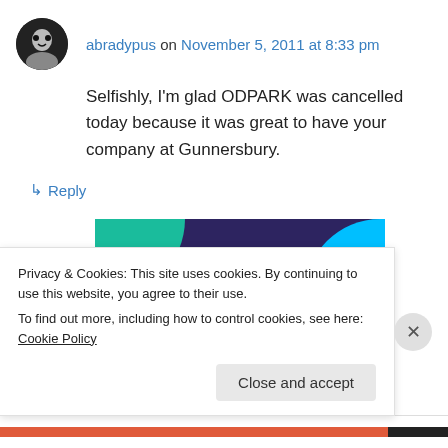abradypus on November 5, 2011 at 8:33 pm
Selfishly, I'm glad ODPARK was cancelled today because it was great to have your company at Gunnersbury.
↳ Reply
[Figure (illustration): Advertisement banner with dark purple background, teal top-left shape and blue right shape. Bold white text reads: Turn your hobby into a business in 8 steps]
Privacy & Cookies: This site uses cookies. By continuing to use this website, you agree to their use.
To find out more, including how to control cookies, see here: Cookie Policy
Close and accept